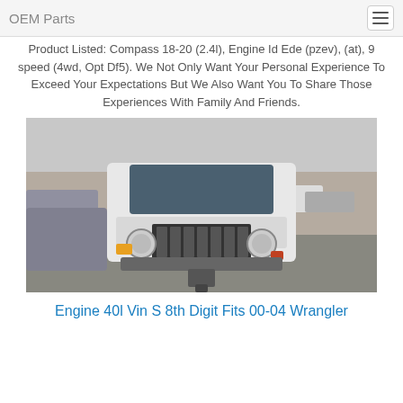OEM Parts
Product Listed: Compass 18-20 (2.4l), Engine Id Ede (pzev), (at), 9 speed (4wd, Opt Df5). We Not Only Want Your Personal Experience To Exceed Your Expectations But We Also Want You To Share Those Experiences With Family And Friends.
[Figure (photo): Front view of a white Jeep Wrangler in a parking lot, showing the distinctive seven-slot grille, round headlights, and front bumper.]
Engine 40l Vin S 8th Digit Fits 00-04 Wrangler